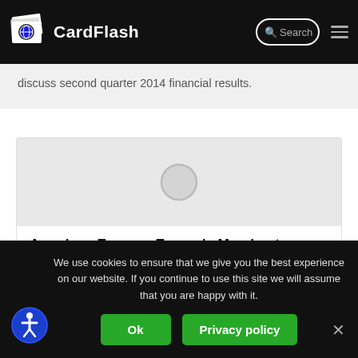CardFlash
discuss second quarter 2014 financial results.
[Figure (other): Gray placeholder image with a circular play button icon]
American Express Expands Merchant Network
We use cookies to ensure that we give you the best experience on our website. If you continue to use this site we will assume that you are happy with it.